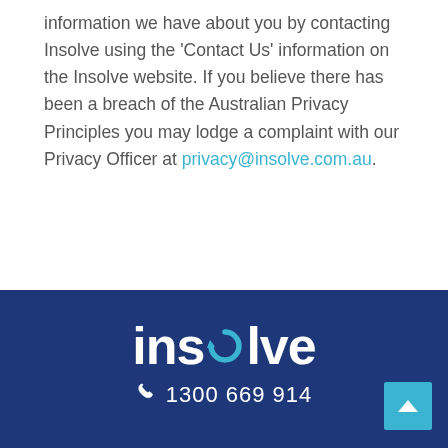information we have about you by contacting Insolve using the 'Contact Us' information on the Insolve website. If you believe there has been a breach of the Australian Privacy Principles you may lodge a complaint with our Privacy Officer at privacy@insolve.com.au.
[Figure (logo): Insolve company logo in white text on dark navy blue background, with the letter 'o' replaced by a blue circular arrow icon. Phone number 1300 669 914 shown below with phone icon.]